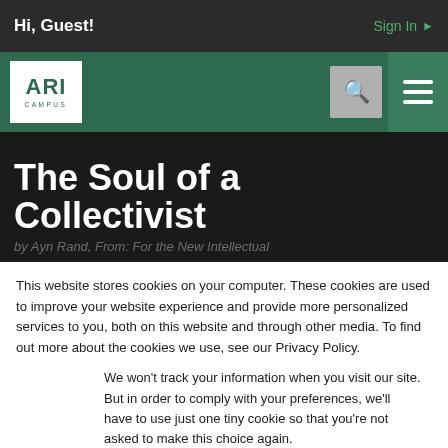Hi, Guest!
Sign In ▶
[Figure (logo): ARI Campus logo — white rectangle with green ARI text and CAMPUS below]
The Soul of a Collectivist
by Ayn Rand, From: For the New Intellectual
This website stores cookies on your computer. These cookies are used to improve your website experience and provide more personalized services to you, both on this website and through other media. To find out more about the cookies we use, see our Privacy Policy.
We won't track your information when you visit our site. But in order to comply with your preferences, we'll have to use just one tiny cookie so that you're not asked to make this choice again.
Accept
Decline